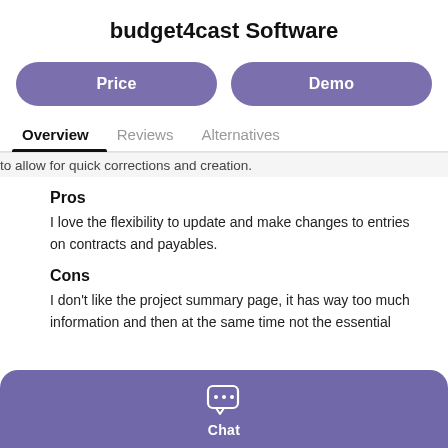budget4cast Software
Price
Demo
Overview
Reviews
Alternatives
to allow for quick corrections and creation.
Pros
I love the flexibility to update and make changes to entries on contracts and payables.
Cons
I don't like the project summary page, it has way too much information and then at the same time not the essential
Chat